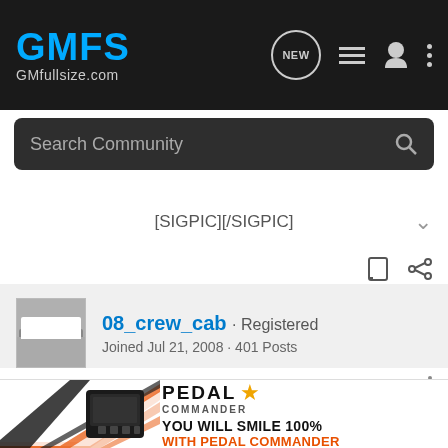GMFS GMfullsize.com
Search Community
[SIGPIC][/SIGPIC]
08_crew_cab · Registered
Joined Jul 21, 2008 · 401 Posts
#8 · Jan 21, 2011
Looks good man!
[Figure (photo): Pedal Commander advertisement banner showing orange speed graphic and truck controller device. Text reads: PEDAL COMMANDER YOU WILL SMILE 100% WITH PEDAL COMMANDER]